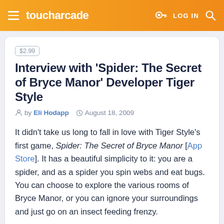toucharcade  LOG IN
$2.99
Interview with ‘Spider: The Secret of Bryce Manor’ Developer Tiger Style
by Eli Hodapp  August 18, 2009
It didn’t take us long to fall in love with Tiger Style’s first game, Spider: The Secret of Bryce Manor [App Store]. It has a beautiful simplicity to it: you are a spider, and as a spider you spin webs and eat bugs. You can choose to explore the various rooms of Bryce Manor, or you can ignore your surroundings and just go on an insect feeding frenzy.